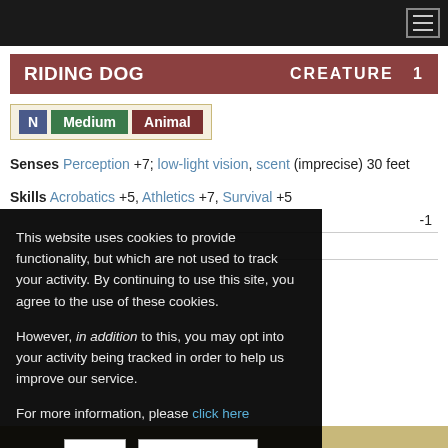RIDING DOG — CREATURE 1 [navigation bar with hamburger menu]
RIDING DOG  CREATURE  1
N  Medium  Animal
Senses Perception +7; low-light vision, scent (imprecise) 30 feet
Skills Acrobatics +5, Athletics +7, Survival +5
-1
This website uses cookies to provide functionality, but which are not used to track your activity. By continuing to use this site, you agree to the use of these cookies.

However, in addition to this, you may opt into your activity being tracked in order to help us improve our service.

For more information, please click here
OK
No, thank you